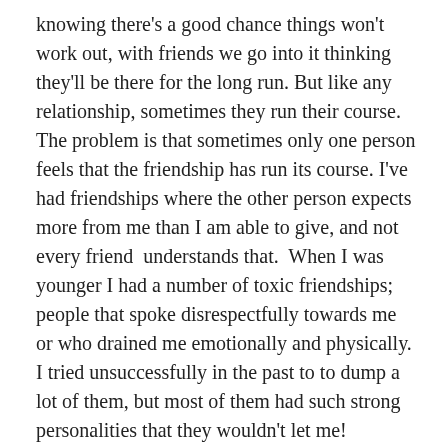knowing there's a good chance things won't work out, with friends we go into it thinking they'll be there for the long run. But like any relationship, sometimes they run their course. The problem is that sometimes only one person feels that the friendship has run its course. I've had friendships where the other person expects more from me than I am able to give, and not every friend understands that.  When I was younger I had a number of toxic friendships; people that spoke disrespectfully towards me or who drained me emotionally and physically. I tried unsuccessfully in the past to to dump a lot of them, but most of them had such strong personalities that they wouldn't let me!